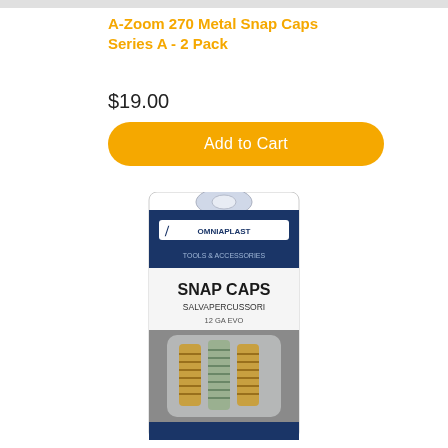A-Zoom 270 Metal Snap Caps Series A - 2 Pack
$19.00
Add to Cart
[Figure (photo): Product photo of A-Zoom 270 Metal Snap Caps in a blue and white Omniaplast blister package labeled SNAP CAPS SALVAPERCUSSORI 12 GA EVO, showing two metal snap caps inside clear plastic packaging.]